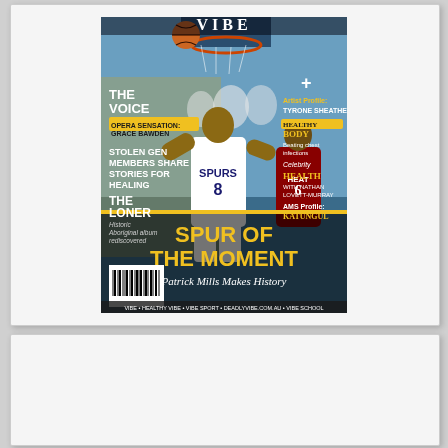[Figure (photo): Magazine cover of 'Deadly Vibe' featuring NBA player Patrick Mills (Patty Mills) in a San Antonio Spurs #8 jersey driving to the basket. Headline reads 'SPUR OF THE MOMENT - Patrick Mills Makes History'. Other headlines include 'The Voice', 'Stolen Gen Members Share Stories for Healing', 'The Loner', 'Healthy Body', 'Celebrity Health', 'AMS Profile: Katungul'. Plus sign and 'Artist Profile: Tyrone Sheather'.]
[Figure (photo): Empty white card/panel below the magazine cover image, appears to be a blank section.]